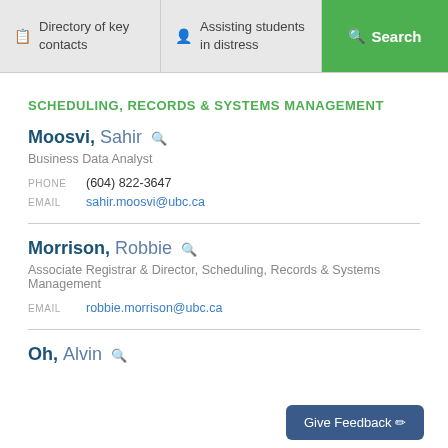Directory of key contacts | Assisting students in distress | Search
SCHEDULING, RECORDS & SYSTEMS MANAGEMENT
Moosvi, Sahir
Business Data Analyst
PHONE (604) 822-3647
EMAIL sahir.moosvi@ubc.ca
Morrison, Robbie
Associate Registrar & Director, Scheduling, Records & Systems Management
EMAIL robbie.morrison@ubc.ca
Oh, Alvin